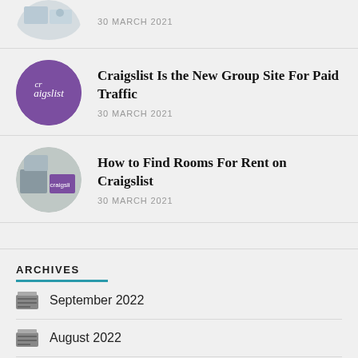[Figure (other): Partial article thumbnail circle at top, cropped]
30 MARCH 2021
[Figure (other): Craigslist purple logo circle thumbnail]
Craigslist Is the New Group Site For Paid Traffic
30 MARCH 2021
[Figure (other): Craigslist mixed photo circle thumbnail]
How to Find Rooms For Rent on Craigslist
30 MARCH 2021
ARCHIVES
September 2022
August 2022
July 2022